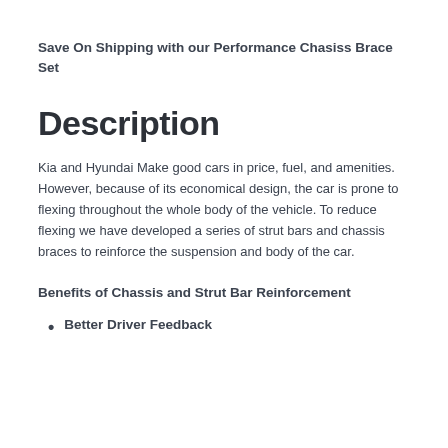Save On Shipping with our Performance Chasiss Brace Set
Description
Kia and Hyundai Make good cars in price, fuel, and amenities. However, because of its economical design, the car is prone to flexing throughout the whole body of the vehicle. To reduce flexing we have developed a series of strut bars and chassis braces to reinforce the suspension and body of the car.
Benefits of Chassis and Strut Bar Reinforcement
Better Driver Feedback